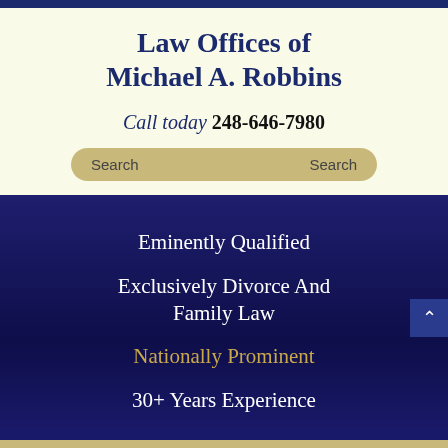Law Offices of Michael A. Robbins
Call today 248-646-7980
Search | Search
Eminently Qualified
Exclusively Divorce And Family Law
Nationally Prominent
30+ Years Experience